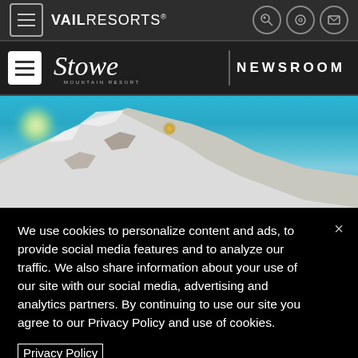VAIL RESORTS
Stowe Mountain Resort | NEWSROOM
[Figure (photo): Aerial snowy mountain peak with blue sky and bright sun, skier visible near summit]
We use cookies to personalize content and ads, to provide social media features and to analyze our traffic. We also share information about your use of our site with our social media, advertising and analytics partners. By continuing to use our site you agree to our Privacy Policy and use of cookies.
Privacy Policy
OK